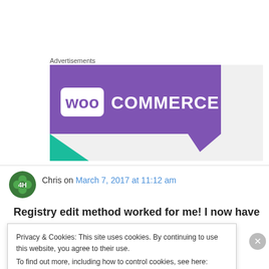Advertisements
[Figure (logo): WooCommerce advertisement banner with purple background and teal green accent triangle]
Chris on March 7, 2017 at 11:12 am
Registry edit method worked for me! I now have
Privacy & Cookies: This site uses cookies. By continuing to use this website, you agree to their use.
To find out more, including how to control cookies, see here: Cookie Policy
Close and accept